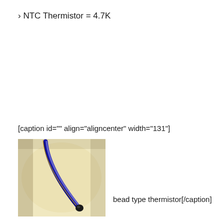› NTC Thermistor = 4.7K
[caption id="" align="aligncenter" width="131"]
[Figure (photo): Photo of a bead type thermistor on a yellow/cream background. The thermistor has a dark bead at the tip of a curved blue wire.]
bead type thermistor[/caption]